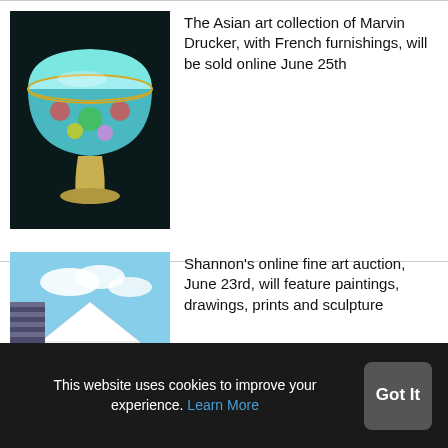[Figure (photo): A decorative Asian cloisonné bowl with turquoise, blue and multicolor enamel design on a pedestal base, photographed against a dark background.]
The Asian art collection of Marvin Drucker, with French furnishings, will be sold online June 25th
[Figure (photo): A painting of a horse racing scene with jockeys on horses in the foreground and grandstands and a large tent structure in the background.]
Shannon's online fine art auction, June 23rd, will feature paintings, drawings, prints and sculpture
This website uses cookies to improve your experience. Learn More